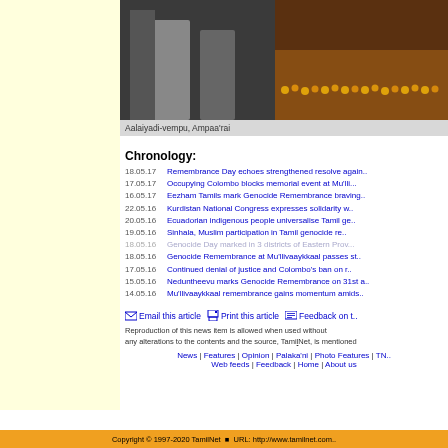[Figure (photo): Photo of people standing near rows of lit candles/oil lamps at night, memorial scene at Aalaiyadi-vempu, Ampaa'rai]
Aalaiyadi-vempu, Ampaa'rai
Chronology:
18.05.17  Remembrance Day echoes strengthened resolve again..
17.05.17  Occupying Colombo blocks memorial event at Mu'lli...
16.05.17  Eezham Tamils mark Genocide Remembrance braving..
22.05.16  Kurdistan National Congress expresses solidarity w..
20.05.16  Ecuadorian indigenous people universalise Tamil ge..
19.05.16  Sinhala, Muslim participation in Tamil genocide re..
18.05.16  Genocide Day marked in 3 districts of Eastern Prov...
18.05.16  Genocide Remembrance at Mu'llivaaykkaal passes st..
17.05.16  Continued denial of justice and Colombo's ban on r..
15.05.16  Neduntheevu marks Genocide Remembrance on 31st a..
14.05.16  Mu'llivaaykkaal remembrance gains momentum amids..
Email this article   Print this article   Feedback on t..
Reproduction of this news item is allowed when used without any alterations to the contents and the source, TamilNet, is mentioned
News | Features | Opinion | Palaka'ni | Photo Features | TN.. Web feeds | Feedback | Home | About us
Copyright © 1997-2020 TamilNet · URL: http://www.tamilnet.com..